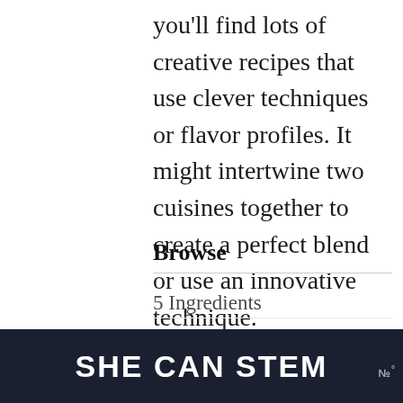you'll find lots of creative recipes that use clever techniques or flavor profiles. It might intertwine two cuisines together to create a perfect blend or use an innovative technique.
Browse
5 Ingredients
Air Fryer
Air Fryer Dinners
Almond Flour
[Figure (screenshot): Share button icon (circle with share symbol)]
[Figure (screenshot): What's Next widget showing Fluffy Eggless Pancakes with thumbnail image]
[Figure (screenshot): SHE CAN STEM advertisement banner with dark background]